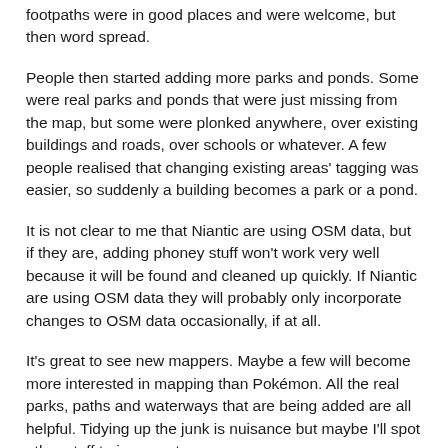footpaths were in good places and were welcome, but then word spread.
People then started adding more parks and ponds. Some were real parks and ponds that were just missing from the map, but some were plonked anywhere, over existing buildings and roads, over schools or whatever. A few people realised that changing existing areas' tagging was easier, so suddenly a building becomes a park or a pond.
It is not clear to me that Niantic are using OSM data, but if they are, adding phoney stuff won't work very well because it will be found and cleaned up quickly. If Niantic are using OSM data they will probably only incorporate changes to OSM data occasionally, if at all.
It's great to see new mappers. Maybe a few will become more interested in mapping than Pokémon. All the real parks, paths and waterways that are being added are all helpful. Tidying up the junk is nuisance but maybe I'll spot other stuff to improve too.